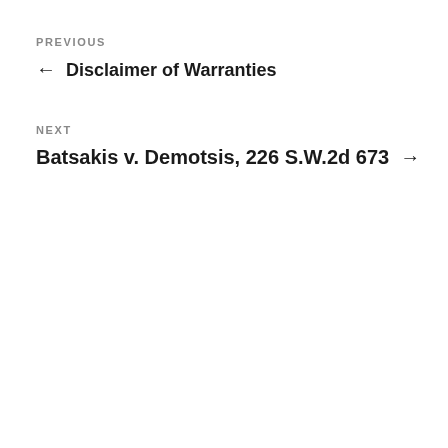PREVIOUS
← Disclaimer of Warranties
NEXT
Batsakis v. Demotsis, 226 S.W.2d 673 →